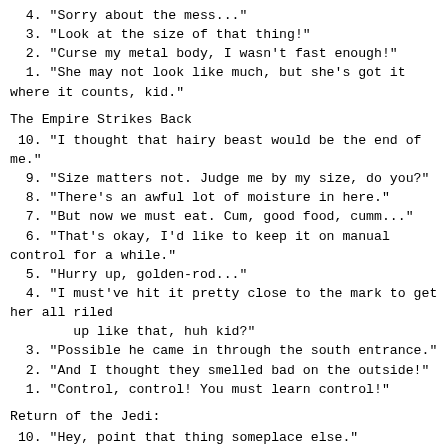4. "Sorry about the mess..."
3. "Look at the size of that thing!"
2. "Curse my metal body, I wasn't fast enough!"
1. "She may not look like much, but she's got it where it counts, kid."
The Empire Strikes Back
10. "I thought that hairy beast would be the end of me."
9. "Size matters not. Judge me by my size, do you?"
8. "There's an awful lot of moisture in here."
7. "But now we must eat. Cum, good food, cumm..."
6. "That's okay, I'd like to keep it on manual control for a while."
5. "Hurry up, golden-rod..."
4. "I must've hit it pretty close to the mark to get her all riled
        up like that, huh kid?"
3. "Possible he came in through the south entrance."
2. "And I thought they smelled bad on the outside!"
1. "Control, control! You must learn control!"
Return of the Jedi:
10. "Hey, point that thing someplace else."
9. "I look forward to completing your training. In time you will
        call me master."
8. "I never knew I had it in me."
7. "The ..."